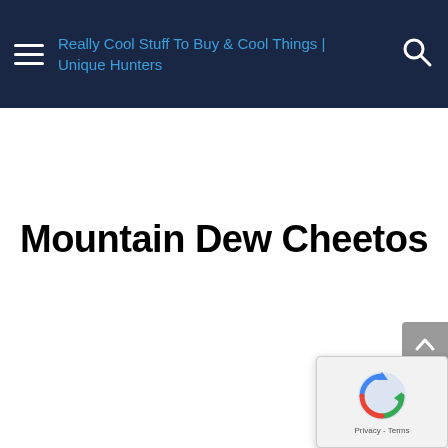Really Cool Stuff To Buy & Cool Things | Unique Hunters
Mountain Dew Cheetos
[Figure (logo): reCAPTCHA widget with Google reCAPTCHA logo and Privacy - Terms text]